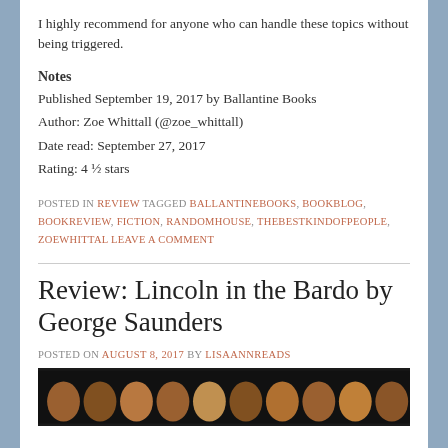I highly recommend for anyone who can handle these topics without being triggered.
Notes
Published September 19, 2017 by Ballantine Books
Author: Zoe Whittall (@zoe_whittall)
Date read: September 27, 2017
Rating: 4 ½ stars
POSTED IN REVIEW TAGGED BALLANTINEBOOKS, BOOKBLOG, BOOKREVIEW, FICTION, RANDOMHOUSE, THEBESTKINDOFPEOPLE, ZOEWHITTAL LEAVE A COMMENT
Review: Lincoln in the Bardo by George Saunders
POSTED ON AUGUST 8, 2017 BY LISAANNREADS
[Figure (photo): Row of face portraits/covers in a dark background at the bottom of the page]